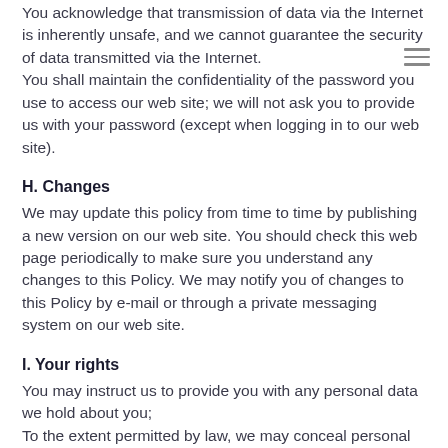You acknowledge that transmission of data via the Internet is inherently unsafe, and we cannot guarantee the security of data transmitted via the Internet.
You shall maintain the confidentiality of the password you use to access our web site; we will not ask you to provide us with your password (except when logging in to our web site).
H. Changes
We may update this policy from time to time by publishing a new version on our web site. You should check this web page periodically to make sure you understand any changes to this Policy. We may notify you of changes to this Policy by e-mail or through a private messaging system on our web site.
I. Your rights
You may instruct us to provide you with any personal data we hold about you;
To the extent permitted by law, we may conceal personal data you request.
At any time, you may instruct us to avoid processing your personal data for marketing purposes, including in the event of a material change in our use the data already collected.
In practice, normally, you shall either explicitly agree to our use of